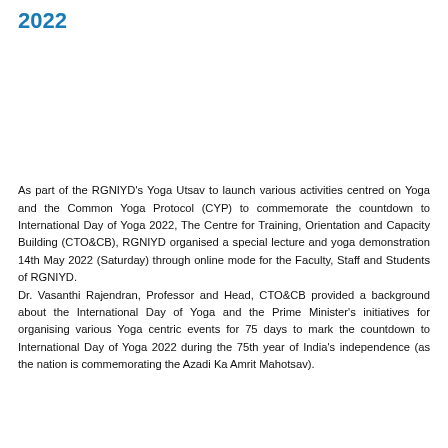2022
As part of the RGNIYD's Yoga Utsav to launch various activities centred on Yoga and the Common Yoga Protocol (CYP) to commemorate the countdown to International Day of Yoga 2022, The Centre for Training, Orientation and Capacity Building (CTO&CB), RGNIYD organised a special lecture and yoga demonstration 14th May 2022 (Saturday) through online mode for the Faculty, Staff and Students of RGNIYD. Dr. Vasanthi Rajendran, Professor and Head, CTO&CB provided a background about the International Day of Yoga and the Prime Minister's initiatives for organising various Yoga centric events for 75 days to mark the countdown to International Day of Yoga 2022 during the 75th year of India's independence (as the nation is commemorating the Azadi Ka Amrit Mahotsav).